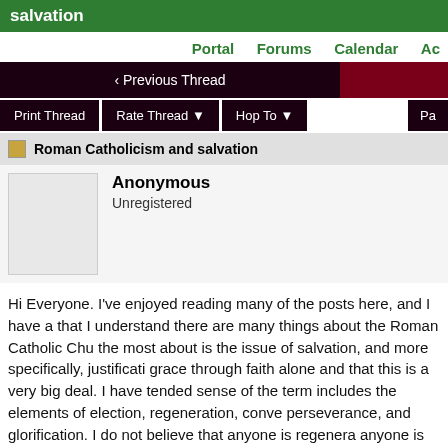salvation
Portal   Forums   Calendar   Ac...
< Previous Thread
Print Thread   Rate Thread ▼   Hop To ▼   Pa...
Roman Catholicism and salvation
Anonymous
Unregistered
Hi Everyone. I've enjoyed reading many of the posts here, and I have a... that I understand there are many things about the Roman Catholic Chu... the most about is the issue of salvation, and more specifically, justificati... grace through faith alone and that this is a very big deal. I have tended ... sense of the term includes the elements of election, regeneration, conve... perseverance, and glorification. I do not believe that anyone is regenera... anyone is converted without having been elected and regenerated, nor ... elected, regenerated, and converted, and so on. Since at least sanctific...